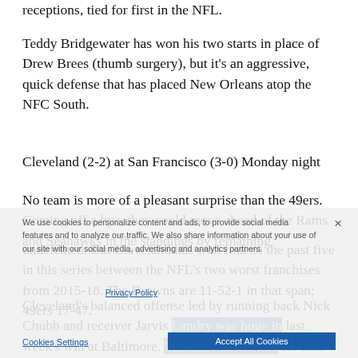receptions, tied for first in the NFL.
Teddy Bridgewater has won his two starts in place of Drew Brees (thumb surgery), but it's an aggressive, quick defense that has placed New Orleans atop the NFC South.
Cleveland (2-2) at San Francisco (3-0) Monday night
No team is more of a pleasant surprise than the 49ers. Coming off a bye, they could move ahead of the Rams and Seahawks in the standings by remaining undefeated. But Cleveland has won four of the past five in this series between the NFL's two worst franchises from 2015-18. The Browns are 11-52-1 in that span; 49ers 17-47.
Cleveland's balanced offense led by running back Nick Chubb and receiver Jarvis Landry was huge in last week's win at Baltimore. The Browns are tied for first place in the AFC North with the Ravens, the first time